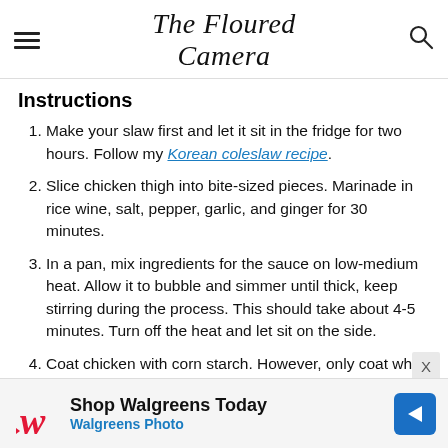The Floured Camera
Instructions
Make your slaw first and let it sit in the fridge for two hours. Follow my Korean coleslaw recipe.
Slice chicken thigh into bite-sized pieces. Marinade in rice wine, salt, pepper, garlic, and ginger for 30 minutes.
In a pan, mix ingredients for the sauce on low-medium heat. Allow it to bubble and simmer until thick, keep stirring during the process. This should take about 4-5 minutes. Turn off the heat and let sit on the side.
Coat chicken with corn starch. However, only coat what you will fry immediately. If you let the chicken sit too long in the starch, it will become a sludge.